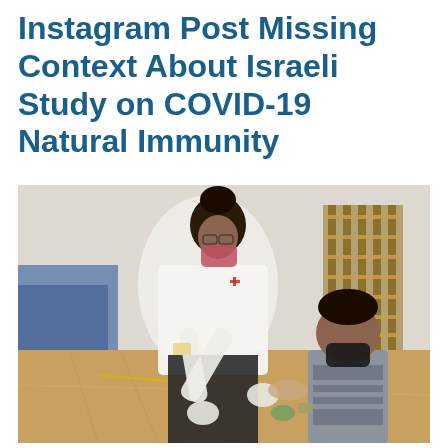Instagram Post Missing Context About Israeli Study on COVID-19 Natural Immunity
[Figure (photo): A female healthcare worker wearing a white uniform, red mask, and gloves leans toward a young child wearing a black mask and striped shirt, appearing to administer a vaccine or check the child's arm. They are inside a gymnasium with a wooden floor, blue walls, and wall-mounted gymnastic bars in the background.]